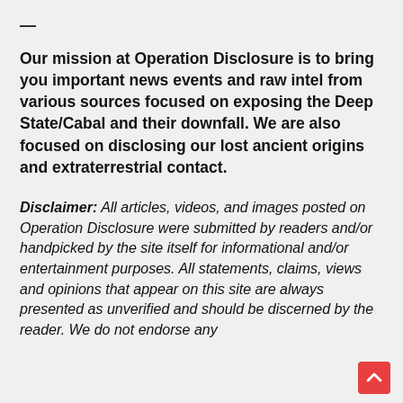—
Our mission at Operation Disclosure is to bring you important news events and raw intel from various sources focused on exposing the Deep State/Cabal and their downfall. We are also focused on disclosing our lost ancient origins and extraterrestrial contact.
Disclaimer: All articles, videos, and images posted on Operation Disclosure were submitted by readers and/or handpicked by the site itself for informational and/or entertainment purposes. All statements, claims, views and opinions that appear on this site are always presented as unverified and should be discerned by the reader. We do not endorse any